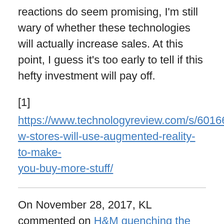reactions do seem promising, I'm still wary of whether these technologies will actually increase sales. At this point, I guess it's too early to tell if this hefty investment will pay off.
[1]
https://www.technologyreview.com/s/601664/how-stores-will-use-augmented-reality-to-make-you-buy-more-stuff/
On November 28, 2017, KL commented on H&M quenching the thirst of the fashion industry:
As I read your analysis, which was shocking as I didn't know much about this issue, my initial reaction was similar to your concern that H&M has not been specific enough in articulating